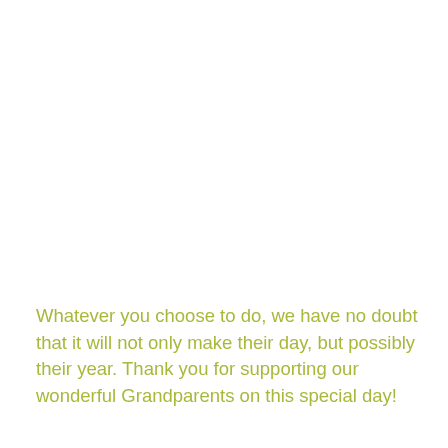Whatever you choose to do, we have no doubt that it will not only make their day, but possibly their year. Thank you for supporting our wonderful Grandparents on this special day!